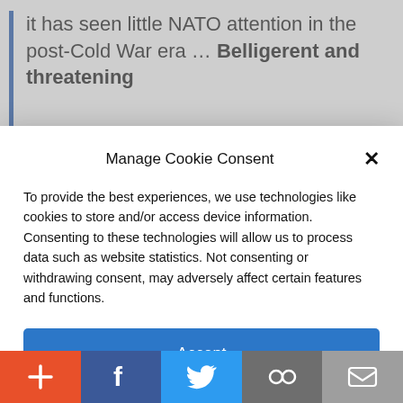it has seen little NATO attention in the post-Cold War era … Belligerent and threatening
Manage Cookie Consent
To provide the best experiences, we use technologies like cookies to store and/or access device information. Consenting to these technologies will allow us to process data such as website statistics. Not consenting or withdrawing consent, may adversely affect certain features and functions.
Accept
Cookie Policy   Privacy Policy
where the money would go – particularly since the European Union (made up